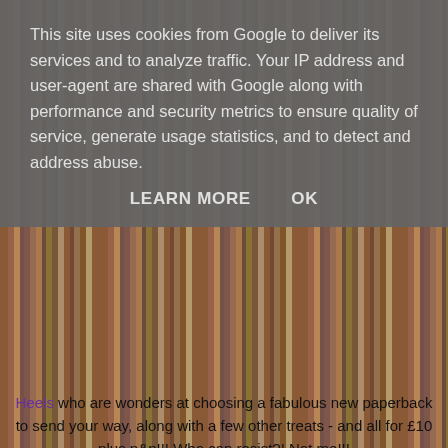This site uses cookies from Google to deliver its services and to analyze traffic. Your IP address and user-agent are shared with Google along with performance and security metrics to ensure quality of service, generate usage statistics, and to detect and address abuse.
LEARN MORE    OK
Heels who are wonders at choosing a fabulous new paperback to send your way, along with a few other treats - and all for £10 plus p&p!!!  Who can resist?! Not me!!!
So if you haven't signed up already, here's a little look at the goodies that arrived in the mail for me yesterday!!
[Figure (photo): Photo of book subscription box contents on a light fabric background, including a Kamila Shamsie 'Home' book (orange cover, Booker Prize winner), another dark book with a note, a small chocolate bar, a gold coin, and a printed letter/info card.]